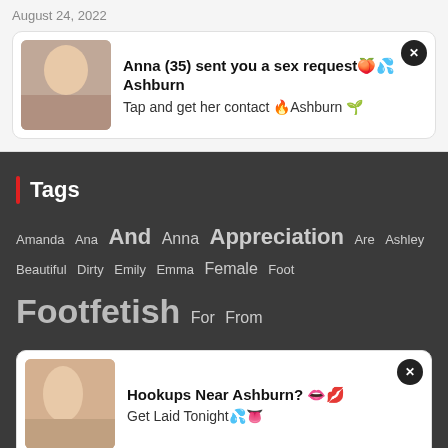August 24, 2022
Anna (35) sent you a sex request🍑💦 Ashburn Tap and get her contact 🔥Ashburn 🌱
Tags
Amanda Ana And Anna Appreciation Are Ashley Beautiful Dirty Emily Emma Female Foot Footfetish For From
Hookups Near Ashburn? 👄💋 Get Laid Tonight💦👅